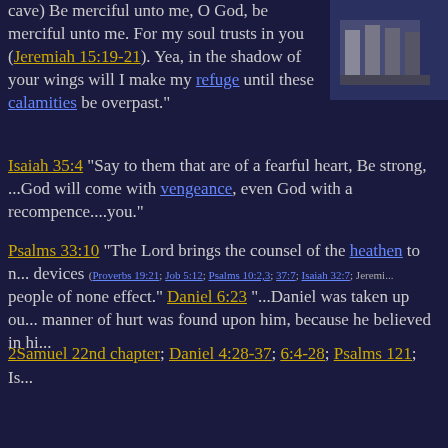cave) Be merciful unto me, O God, be merciful unto me. For my soul trusts in you (Jeremiah 15:19-21). Yea, in the shadow of your wings will I make my refuge until these calamities be overpast."
[Figure (photo): Partial image of a building or stone structure on dark blue background, top right corner]
Isaiah 35:4 "Say to them that are of a fearful heart, Be strong, ...God will come with vengeance, even God with a recompence....you."
Psalms 33:10 "The Lord brings the counsel of the heathen to n... devices (Proverbs 19:21; Job 5:12; Psalms 10:2,3; 37:7; Isaiah 32:7; Jeremi... people of none effect." Daniel 6:23 "...Daniel was taken up ou... manner of hurt was found upon him, because he believed in hi...
2Samuel 22nd chapter; Daniel 4:28-37; 6:4-28; Psalms 121; Is...
God can easily defend you: 2Kings 19:34. He has enough help... controls nature. Thus, God can keep you safe anywhere. Some... Bruno Gröning Circle of Friends meeting "Even when we are a... physically), Bruno watches over us. God and his little servant Br... always close to us, ready to help." And always means always,... God, He never leaves you.
Job 5:12 "He disappoints the devices of the crafty, so that their... their enterprise." Amos 2:9 "Yet destroyed I the Amorite...